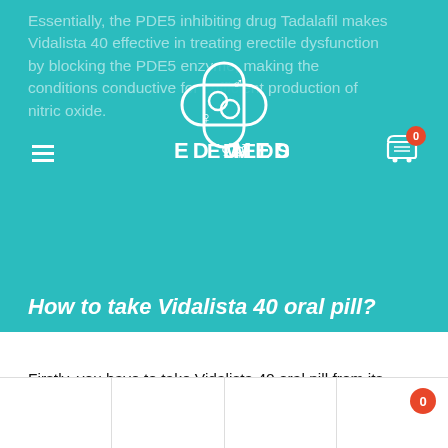[Figure (screenshot): ED Meds website logo with a cross/pharmacy symbol and gender icons, white on teal background, with text 'ED MEDS']
Essentially, the PDE5 inhibiting drug Tadalafil makes Vidalista 40 effective in treating erectile dysfunction by blocking the PDE5 enzyme, making the conditions conductive for sufficient production of nitric oxide.
How to take Vidalista 40 oral pill?
Firstly, you have to take Vidalista 40 oral pill from its plastic coating, and then drink it down with some water, that's all in the procedure to use this Tadalafil medication.
Breaking down the tablet in half, crushing it down to a powder form, or chewing it is strictly discouraged as such tampering with the Vidalista 40 mg tablet can reduce the potency of the Tadalafil drug present in it.